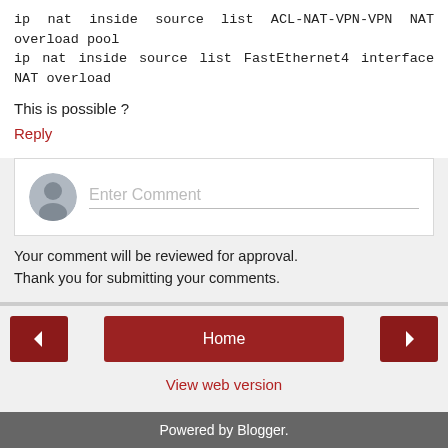ip nat inside source list ACL-NAT-VPN-VPN NAT overload pool
ip nat inside source list FastEthernet4 interface NAT overload
This is possible ?
Reply
[Figure (other): Comment input box with user avatar placeholder and 'Enter Comment' placeholder text]
Your comment will be reviewed for approval.
Thank you for submitting your comments.
< Home >
View web version
Powered by Blogger.